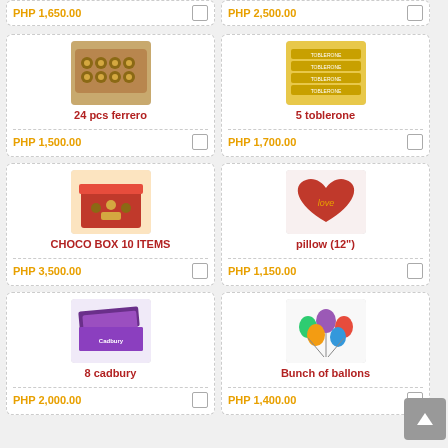PHP 1,650.00
PHP 2,500.00
[Figure (photo): Box of 24 Ferrero Rocher chocolates]
24 pcs ferrero
PHP 1,500.00
[Figure (photo): Stack of 5 Toblerone chocolate bars]
5 toblerone
PHP 1,700.00
[Figure (photo): Red gift box with 10 chocolate items inside]
CHOCO BOX 10 ITEMS
PHP 3,500.00
[Figure (photo): Red heart-shaped love pillow 12 inches]
pillow (12")
PHP 1,150.00
[Figure (photo): Multiple Cadbury chocolate bars stacked]
8 cadbury
PHP 2,000.00
[Figure (photo): Bunch of colorful balloons]
Bunch of ballons
PHP 1,400.00